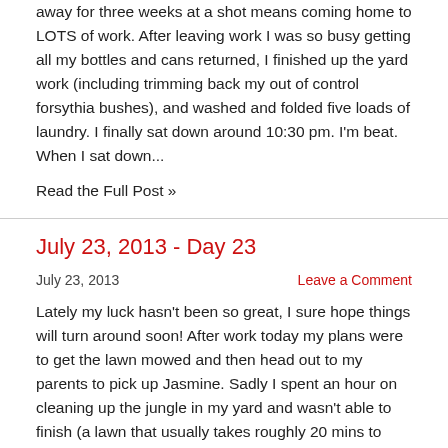away for three weeks at a shot means coming home to LOTS of work. After leaving work I was so busy getting all my bottles and cans returned, I finished up the yard work (including trimming back my out of control forsythia bushes), and washed and folded five loads of laundry. I finally sat down around 10:30 pm. I'm beat. When I sat down...
Read the Full Post »
July 23, 2013 - Day 23
July 23, 2013
Leave a Comment
Lately my luck hasn't been so great, I sure hope things will turn around soon! After work today my plans were to get the lawn mowed and then head out to my parents to pick up Jasmine. Sadly I spent an hour on cleaning up the jungle in my yard and wasn't able to finish (a lawn that usually takes roughly 20 mins to mow). The lawn was too high and wet and the mower sounded like it needed a break. Thi...